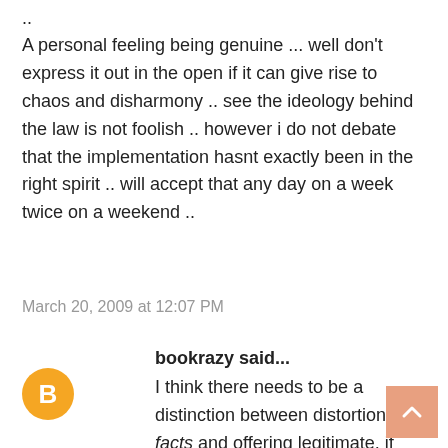..
A personal feeling being genuine ... well don't express it out in the open if it can give rise to chaos and disharmony .. see the ideology behind the law is not foolish .. however i do not debate that the implementation hasnt exactly been in the right spirit .. will accept that any day on a week twice on a weekend ..
March 20, 2009 at 12:07 PM
bookrazy said...
[Figure (logo): Blogger avatar icon — orange circle with white 'B' letter]
I think there needs to be a distinction between distortion of facts and offering legitimate, if offensive, opinion.
The first is often self-defeating, but must be penalized since done cleverly, it can, as you suggest, create confusion.